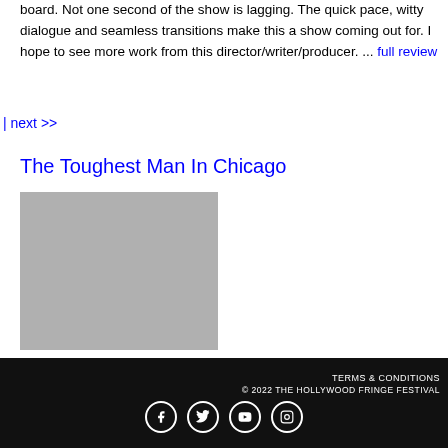board. Not one second of the show is lagging. The quick pace, witty dialogue and seamless transitions make this a show coming out for. I hope to see more work from this director/writer/producer. ... full review
| next >>
The Toughest Man In Chicago
[Figure (photo): Gray placeholder image for The Toughest Man In Chicago]
TERMS & CONDITIONS © 2022 THE HOLLYWOOD FRINGE FESTIVAL